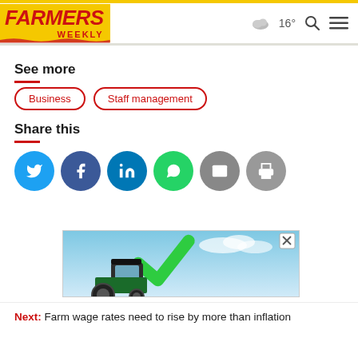Farmers Weekly | 16° weather
See more
Business
Staff management
Share this
[Figure (screenshot): Social share buttons: Twitter, Facebook, LinkedIn, WhatsApp, Email, Print]
[Figure (photo): Advertisement showing a tractor with green checkmark branding]
Next: Farm wage rates need to rise by more than inflation